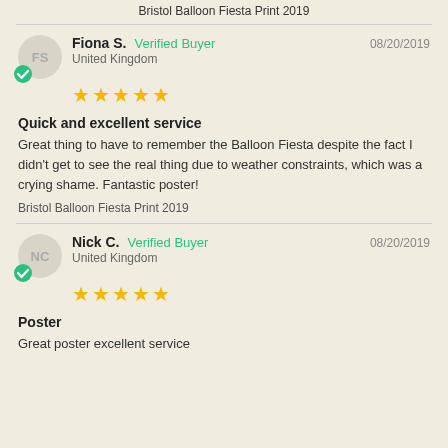Bristol Balloon Fiesta Print 2019
Fiona S.   Verified Buyer   08/20/2019   United Kingdom   ★★★★★
Quick and excellent service
Great thing to have to remember the Balloon Fiesta despite the fact I didn't get to see the real thing due to weather constraints, which was a crying shame. Fantastic poster!
Bristol Balloon Fiesta Print 2019
Nick C.   Verified Buyer   08/20/2019   United Kingdom   ★★★★★
Poster
Great poster excellent service